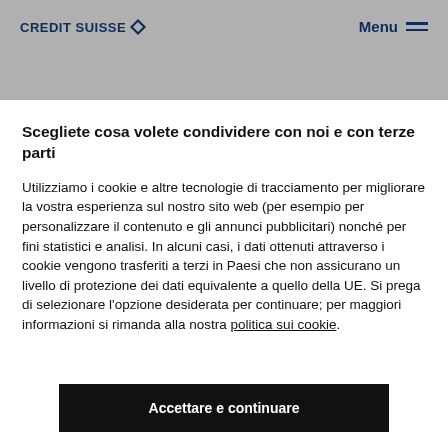CREDIT SUISSE   Menu
Comunicati stampa
Scegliete cosa volete condividere con noi e con terze parti
Utilizziamo i cookie e altre tecnologie di tracciamento per migliorare la vostra esperienza sul nostro sito web (per esempio per personalizzare il contenuto e gli annunci pubblicitari) nonché per fini statistici e analisi. In alcuni casi, i dati ottenuti attraverso i cookie vengono trasferiti a terzi in Paesi che non assicurano un livello di protezione dei dati equivalente a quello della UE. Si prega di selezionare l'opzione desiderata per continuare; per maggiori informazioni si rimanda alla nostra politica sui cookie.
Accettare e continuare